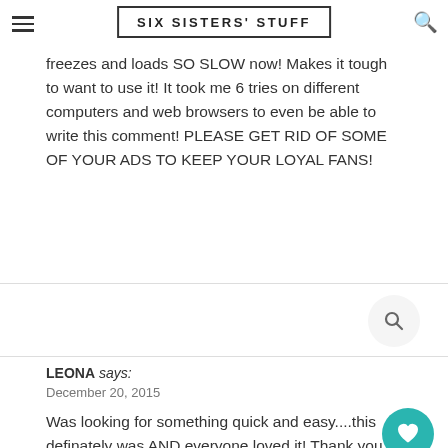SIX SISTERS' STUFF
I love this recipe! And I love y'alls blog! But I hate that you have added so many ads that your site freezes and loads SO SLOW now! Makes it tough to want to use it! It took me 6 tries on different computers and web browsers to even be able to write this comment! PLEASE GET RID OF SOME OF YOUR ADS TO KEEP YOUR LOYAL FANS!
LEONA says:
December 20, 2015
Was looking for something quick and easy....this definately was AND everyone loved it! Thank you